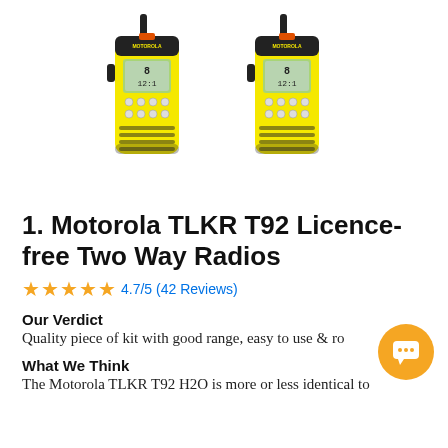[Figure (photo): Two Motorola TLKR T92 yellow and black walkie-talkie two-way radios side by side on a white background]
1. Motorola TLKR T92 Licence-free Two Way Radios
★★★★★ 4.7/5 (42 Reviews)
Our Verdict
Quality piece of kit with good range, easy to use & ro
What We Think
The Motorola TLKR T92 H2O is more or less identical to